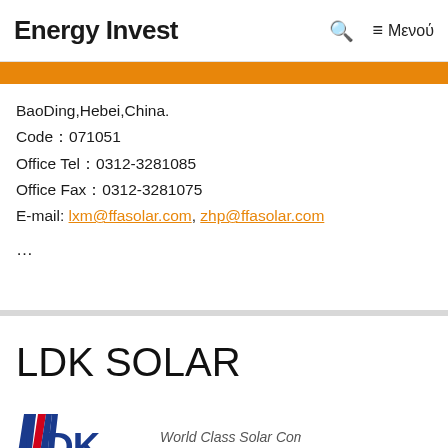Energy Invest   🔍  ≡ Μενού
BaoDing,Hebei,China.
Code：071051
Office Tel：0312-3281085
Office Fax：0312-3281075
E-mail: lxm@ffasolar.com, zhp@ffasolar.com
…
LDK SOLAR
[Figure (logo): LDK Solar logo with flag stripes and 'LIGHT OUR FUTURE' text, alongside 'World Class Solar Company' tagline]